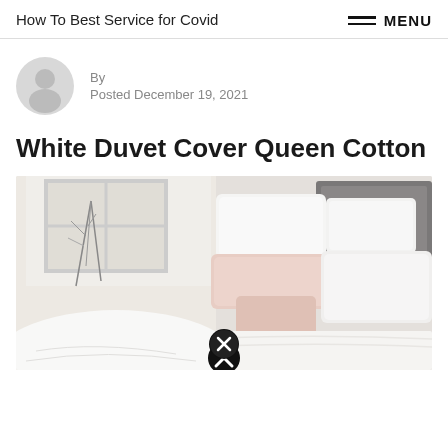How To Best Service for Covid
By
Posted December 19, 2021
White Duvet Cover Queen Cotton
[Figure (photo): Bedroom scene with white duvet cover, pillows in white and blush pink, gray upholstered headboard, and a nightstand with decorative vase and small black canister. Close button (X) visible at bottom center.]